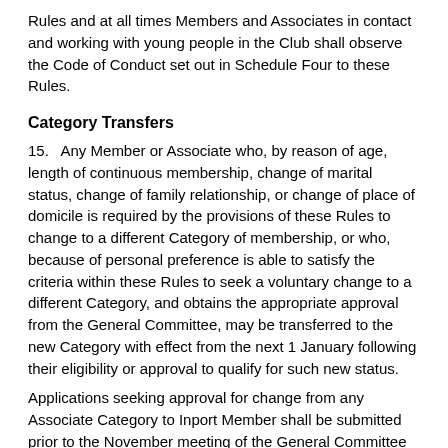Rules and at all times Members and Associates in contact and working with young people in the Club shall observe the Code of Conduct set out in Schedule Four to these Rules.
Category Transfers
15.   Any Member or Associate who, by reason of age, length of continuous membership, change of marital status, change of family relationship, or change of place of domicile is required by the provisions of these Rules to change to a different Category of membership, or who, because of personal preference is able to satisfy the criteria within these Rules to seek a voluntary change to a different Category, and obtains the appropriate approval from the General Committee, may be transferred to the new Category with effect from the next 1 January following their eligibility or approval to qualify for such new status.
Applications seeking approval for change from any Associate Category to Inport Member shall be submitted prior to the November meeting of the General Committee and shall be on a form which shall be placed on the notice-board along with other applications for membership.
Rights and Restrictions
16. (a) Only Inport, Senior and Life Members, and Honorary Members who were members immediately before their election